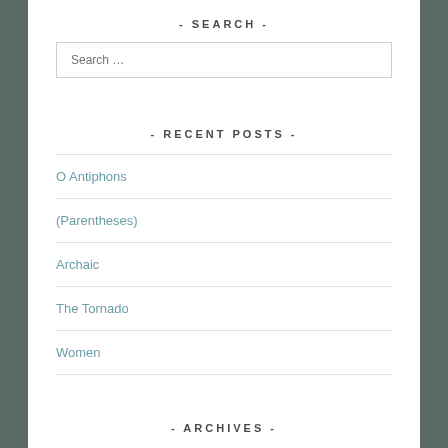- SEARCH -
Search …
- RECENT POSTS -
O Antiphons
(Parentheses)
Archaic
The Tornado
Women
- ARCHIVES -